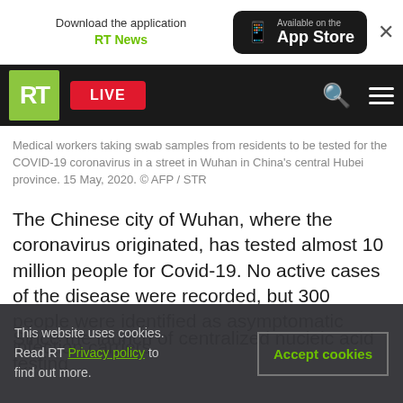[Figure (screenshot): App download banner: 'Download the application RT News' with App Store button and close X]
[Figure (screenshot): RT navigation bar with green RT logo, red LIVE button, search and menu icons, over a photo strip]
Medical workers taking swab samples from residents to be tested for the COVID-19 coronavirus in a street in Wuhan in China's central Hubei province. 15 May, 2020. © AFP / STR
The Chinese city of Wuhan, where the coronavirus originated, has tested almost 10 million people for Covid-19. No active cases of the disease were recorded, but 300 people were identified as asymptomatic infection carriers.
Since the launch of centralized nucleic acid testing
This website uses cookies. Read RT Privacy policy to find out more.